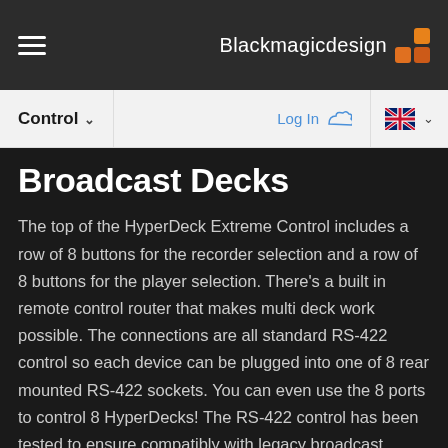Blackmagicdesign
Control
Broadcast Decks
The top of the HyperDeck Extreme Control includes a row of 8 buttons for the recorder selection and a row of 8 buttons for the player selection. There's a built in remote control router that makes multi deck work possible. The connections are all standard RS-422 control so each device can be plugged into one of 8 rear mounted RS-422 sockets. You can even use the 8 ports to control 8 HyperDecks! The RS-422 control has been tested to ensure compatibly with legacy broadcast decks such as the BVH-2000 series 1 inch C format machines, D2,